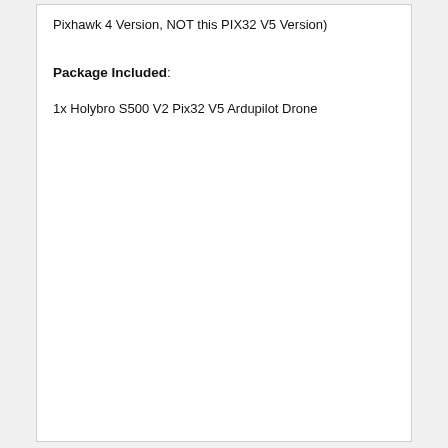Pixhawk 4 Version, NOT this PIX32 V5 Version)
Package Included:
1x Holybro S500 V2 Pix32 V5 Ardupilot Drone